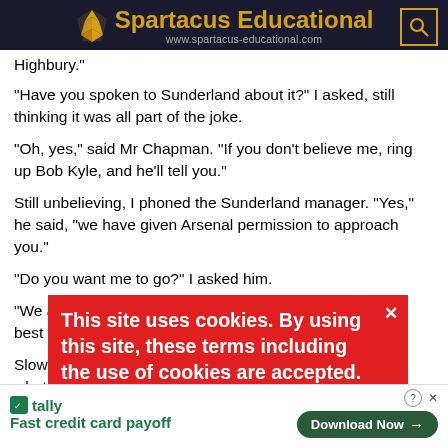Spartacus Educational www.spartacus-educational.com
Highbury."
"Have you spoken to Sunderland about it?" I asked, still thinking it was all part of the joke.
"Oh, yes," said Mr Chapman. "If you don't believe me, ring up Bob Kyle, and he'll tell you."
Still unbelieving, I phoned the Sunderland manager. "Yes," he said, "we have given Arsenal permission to approach you."
"Do you want me to go?" I asked him.
"We are leaving that to you," he said. "Do what you think best for yourself. It's in your hands."
Slowly I put down the receiver. I was almost stupefied by what I had heard. It had never crossed my mind that Sunderland would be prepared...
Mr Chapman just... Well?
This site uses cookies. By using this site, these terms including the use of cookies are accepted. More explanation can be found in our